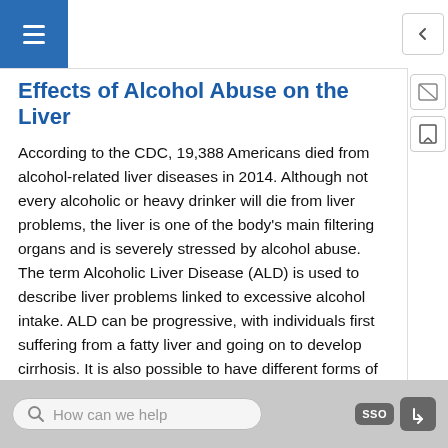Effects of Alcohol Abuse on the Liver
According to the CDC, 19,388 Americans died from alcohol-related liver diseases in 2014. Although not every alcoholic or heavy drinker will die from liver problems, the liver is one of the body's main filtering organs and is severely stressed by alcohol abuse. The term Alcoholic Liver Disease (ALD) is used to describe liver problems linked to excessive alcohol intake. ALD can be progressive, with individuals first suffering from a fatty liver and going on to develop cirrhosis. It is also possible to have different forms of ALD at the same time.